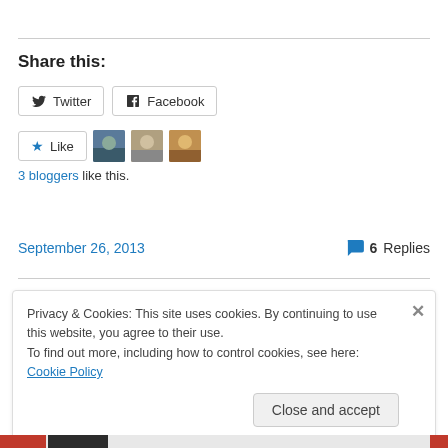Share this:
Twitter  Facebook
[Figure (other): Like button with star icon and 3 blogger avatars]
3 bloggers like this.
September 26, 2013    6 Replies
Privacy & Cookies: This site uses cookies. By continuing to use this website, you agree to their use. To find out more, including how to control cookies, see here: Cookie Policy
Close and accept